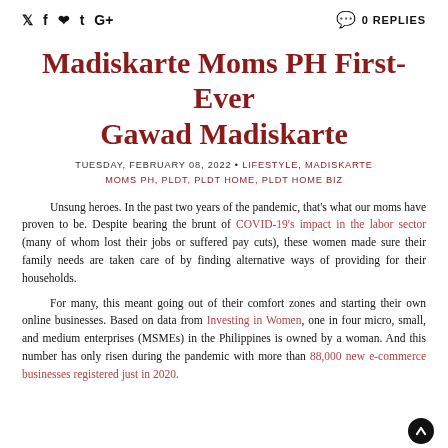🐦 f 𝗽 t G+   💬 0 REPLIES
Madiskarte Moms PH First-Ever Gawad Madiskarte
TUESDAY, FEBRUARY 08, 2022 • LIFESTYLE, MADISKARTE MOMS PH, PLDT, PLDT HOME, PLDT HOME BIZ
Unsung heroes. In the past two years of the pandemic, that's what our moms have proven to be. Despite bearing the brunt of COVID-19's impact in the labor sector (many of whom lost their jobs or suffered pay cuts), these women made sure their family needs are taken care of by finding alternative ways of providing for their households.
For many, this meant going out of their comfort zones and starting their own online businesses. Based on data from Investing in Women, one in four micro, small, and medium enterprises (MSMEs) in the Philippines is owned by a woman. And this number has only risen during the pandemic with more than 88,000 new e-commerce businesses registered just in 2020.